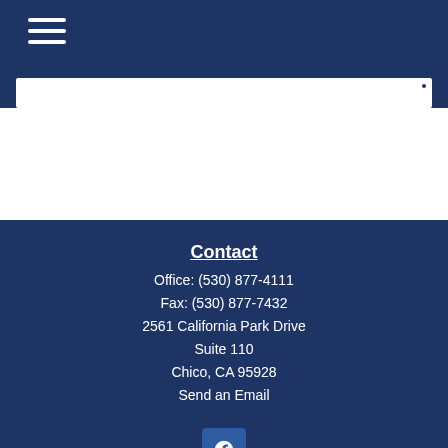[Figure (screenshot): Navigation hamburger menu icon (three white horizontal lines) on dark navy blue header background]
Contact
Office: (530) 877-4111
Fax: (530) 877-7432
2561 California Park Drive
Suite 110
Chico, CA 95928
Send an Email
[Figure (logo): Facebook 'f' logo icon in a rounded square button]
Quick Links
Retirement